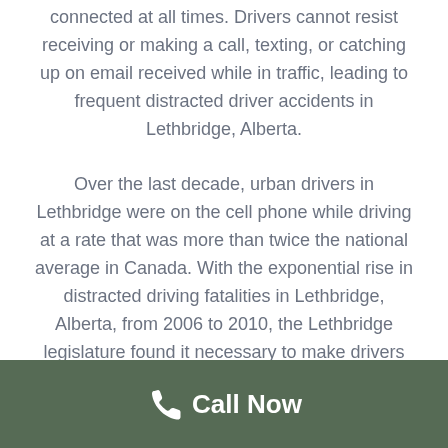connected at all times. Drivers cannot resist receiving or making a call, texting, or catching up on email received while in traffic, leading to frequent distracted driver accidents in Lethbridge, Alberta.
Over the last decade, urban drivers in Lethbridge were on the cell phone while driving at a rate that was more than twice the national average in Canada. With the exponential rise in distracted driving fatalities in Lethbridge, Alberta, from 2006 to 2010, the Lethbridge legislature found it necessary to make drivers face harsh legal consequences of distracted driving. Consequently, on September 1, 2011, the toughest distracted driving laws in North America were passed by the Lethbridge legislature.
Call Now